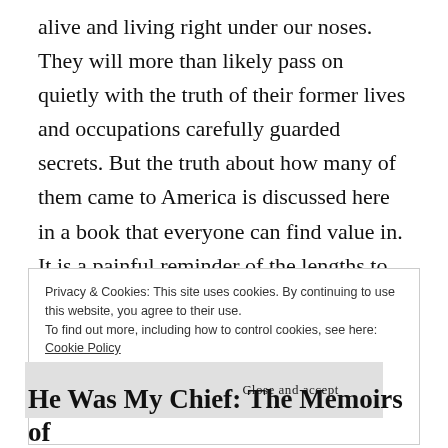alive and living right under our noses. They will more than likely pass on quietly with the truth of their former lives and occupations carefully guarded secrets. But the truth about how many of them came to America is discussed here in a book that everyone can find value in. It is a painful reminder of the lengths to which America was willing to go in the Cold War against the Soviet Union and global domination.
Privacy & Cookies: This site uses cookies. By continuing to use this website, you agree to their use.
To find out more, including how to control cookies, see here: Cookie Policy
He Was My Chief: The Memoirs of